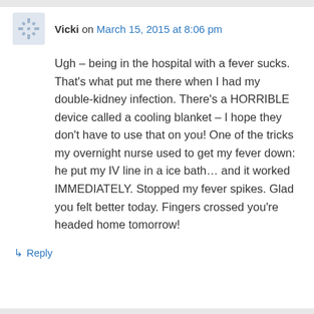Vicki on March 15, 2015 at 8:06 pm
Ugh – being in the hospital with a fever sucks. That's what put me there when I had my double-kidney infection. There's a HORRIBLE device called a cooling blanket – I hope they don't have to use that on you! One of the tricks my overnight nurse used to get my fever down: he put my IV line in a ice bath… and it worked IMMEDIATELY. Stopped my fever spikes. Glad you felt better today. Fingers crossed you're headed home tomorrow!
↳ Reply